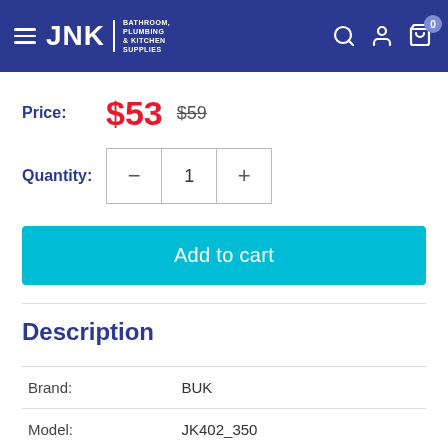JNK | BATHROOM, PLUMBING & KITCHEN SUPPLIES
Price: $53  $59
Quantity: 1
Add to cart
Description
|  |  |
| --- | --- |
| Brand: | BUK |
| Model: | JK402_350 |